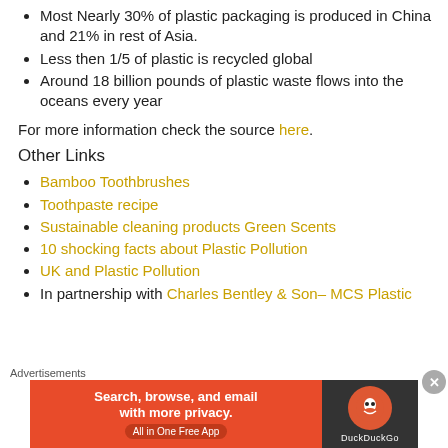Most Nearly 30% of plastic packaging is produced in China and 21% in rest of Asia.
Less then 1/5 of plastic is recycled global
Around 18 billion pounds of plastic waste flows into the oceans every year
For more information check the source here.
Other Links
Bamboo Toothbrushes
Toothpaste recipe
Sustainable cleaning products Green Scents
10 shocking facts about Plastic Pollution
UK and Plastic Pollution
In partnership with Charles Bentley & Son– MCS Plastic
Advertisements
[Figure (screenshot): DuckDuckGo advertisement banner: 'Search, browse, and email with more privacy. All in One Free App' on orange background with DuckDuckGo logo on dark background]